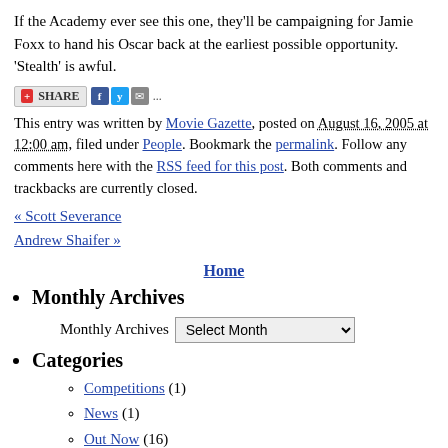If the Academy ever see this one, they'll be campaigning for Jamie Foxx to hand his Oscar back at the earliest possible opportunity. 'Stealth' is awful.
[Figure (other): Share bar with AddThis button, Facebook, Twitter, and email icons]
This entry was written by Movie Gazette, posted on August 16, 2005 at 12:00 am, filed under People. Bookmark the permalink. Follow any comments here with the RSS feed for this post. Both comments and trackbacks are currently closed.
« Scott Severance
Andrew Shaifer »
Home
Monthly Archives
Monthly Archives  Select Month
Categories
Competitions (1)
News (1)
Out Now (16)
People (10,928)